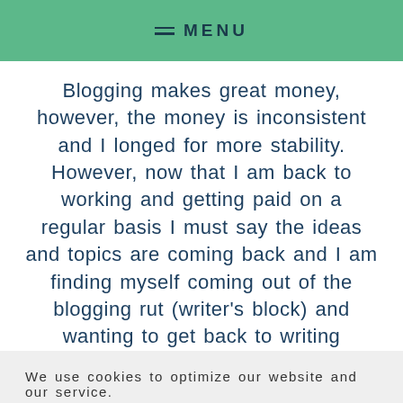MENU
Blogging makes great money, however, the money is inconsistent and I longed for more stability. However, now that I am back to working and getting paid on a regular basis I must say the ideas and topics are coming back and I am finding myself coming out of the blogging rut (writer's block) and wanting to get back to writing
We use cookies to optimize our website and our service.
Accept
Disclosures